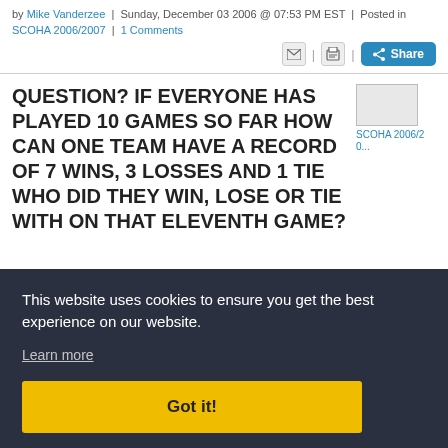by Mike Vanderzee | Sunday, December 03 2006 @ 07:53 PM EST | Posted in SCOHA 2006/2007 | 1 Comments
QUESTION? IF EVERYONE HAS PLAYED 10 GAMES SO FAR HOW CAN ONE TEAM HAVE A RECORD OF 7 WINS, 3 LOSSES AND 1 TIE WHO DID THEY WIN, LOSE OR TIE WITH ON THAT ELEVENTH GAME?
This website uses cookies to ensure you get the best experience on our website. Learn more
Got it!
format this year. I know that it isn't easy to set up a